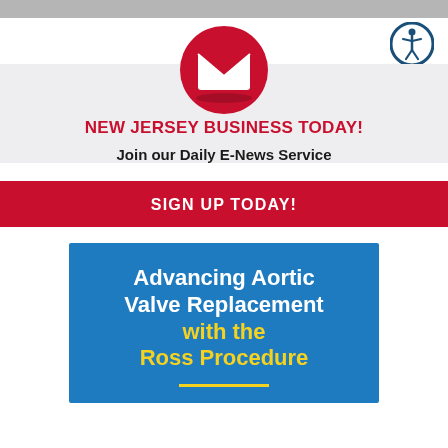[Figure (infographic): Accessibility icon (person in circle, dark blue border) in top right corner]
[Figure (infographic): Red circular email/envelope icon centered above the newsletter sign-up section]
NEW JERSEY BUSINESS TODAY!
Join our Daily E-News Service
SIGN UP TODAY!
[Figure (infographic): Blue advertisement banner for 'Advancing Aortic Valve Replacement with the Ross Procedure' with white and yellow text]